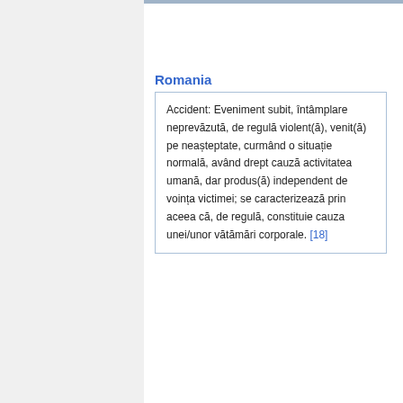Romania
Accident: Eveniment subit, întâmplare neprevăzută, de regulă violent(ă), venit(ă) pe neașteptate, curmând o situație normală, având drept cauză activitatea umană, dar produs(ă) independent de voința victimei; se caracterizează prin aceea că, de regulă, constituie cauza unei/unor vătămări corporale. [18]